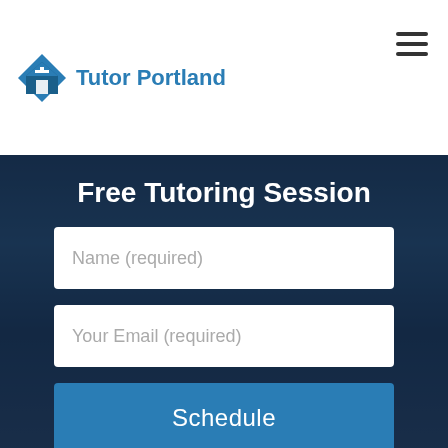Tutor Portland
Free Tutoring Session
Name (required)
Your Email (required)
Schedule